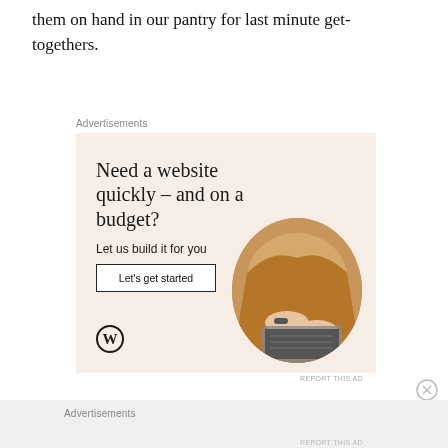them on hand in our pantry for last minute get-togethers.
Advertisements
[Figure (infographic): WordPress advertisement: 'Need a website quickly – and on a budget? Let us build it for you' with a 'Let's get started' button, WordPress logo, and a circular photo of hands typing on a laptop.]
REPORT THIS AD
Advertisements